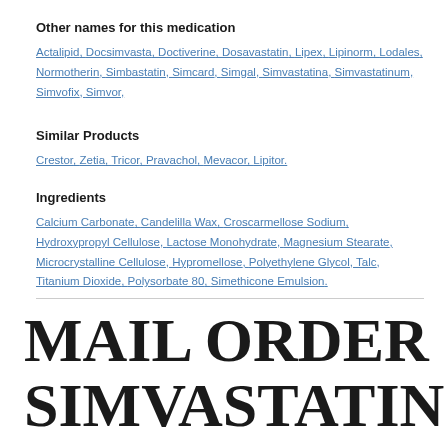Other names for this medication
Actalipid, Docsimvasta, Doctiverine, Dosavastatin, Lipex, Lipinorm, Lodales, Normotherin, Simbastatin, Simcard, Simgal, Simvastatina, Simvastatinum, Simvofix, Simvor,
Similar Products
Crestor, Zetia, Tricor, Pravachol, Mevacor, Lipitor.
Ingredients
Calcium Carbonate, Candelilla Wax, Croscarmellose Sodium, Hydroxypropyl Cellulose, Lactose Monohydrate, Magnesium Stearate, Microcrystalline Cellulose, Hypromellose, Polyethylene Glycol, Talc, Titanium Dioxide, Polysorbate 80, Simethicone Emulsion.
MAIL ORDER SIMVASTATIN REVIEWS